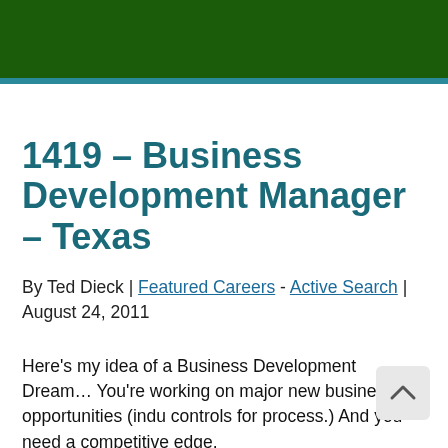[Figure (other): Dark green header banner with decorative background image]
1419 – Business Development Manager – Texas
By Ted Dieck | Featured Careers - Active Search | August 24, 2011
Here's my idea of a Business Development Dream… You're working on major new business opportunities (indu controls for process.)  And you need a competitive edge.